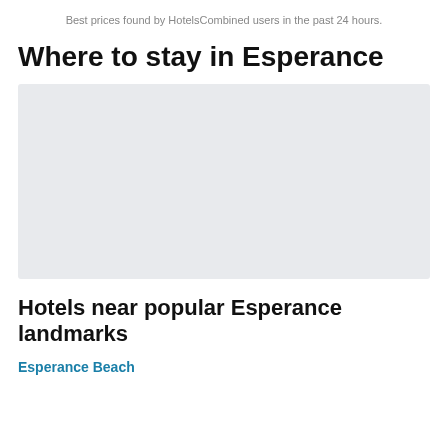Best prices found by HotelsCombined users in the past 24 hours.
Where to stay in Esperance
[Figure (other): Map placeholder showing a grey rectangular area representing a map of Esperance]
Hotels near popular Esperance landmarks
Esperance Beach